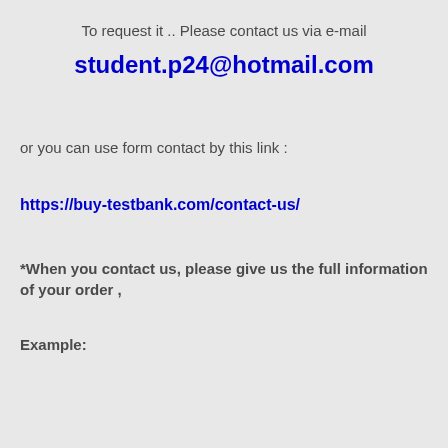To request it .. Please contact us via e-mail
student.p24@hotmail.com
or you can use form contact by this link :
https://buy-testbank.com/contact-us/
*When you contact us, please give us the full information of your order ,
Example: